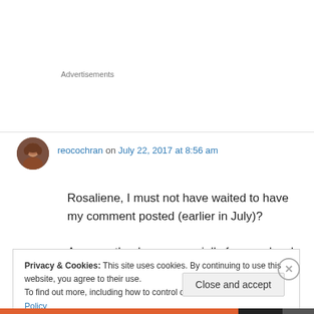Advertisements
reocochran on July 22, 2017 at 8:56 am
Rosaliene, I must not have waited to have my comment posted (earlier in July)?
Anyway, thank you especially for your lovely
Privacy & Cookies: This site uses cookies. By continuing to use this website, you agree to their use.
To find out more, including how to control cookies, see here: Cookie Policy
Close and accept